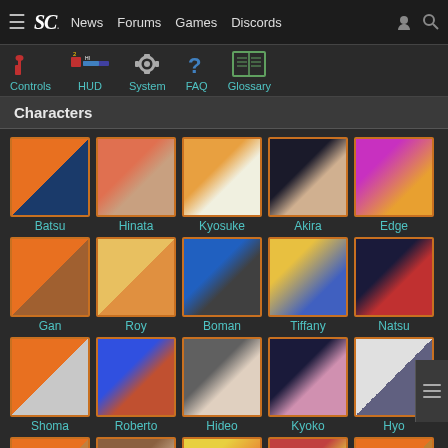SC | News | Forums | Games | Discords
[Figure (screenshot): Navigation icon row with Controls, HUD, System, FAQ, Glossary icons]
Characters
[Figure (screenshot): Grid of character portraits: Row1: Batsu, Hinata, Kyosuke, Akira, Edge. Row2: Gan, Roy, Boman, Tiffany, Natsu. Row3: Shoma, Roberto, Hideo, Kyoko, Hyo. Row4 (partial): Daigo, Hayato, Ran, Nagare, Burning]